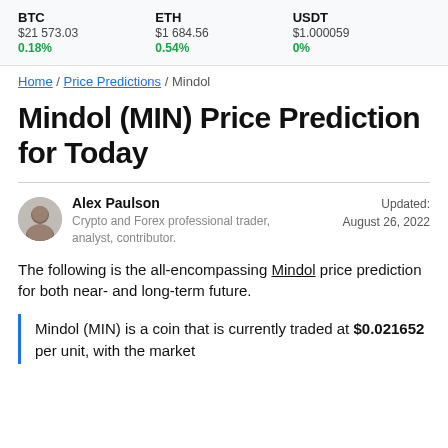BTC $21 573.03 0.18% | ETH $1 684.56 0.54% | USDT $1.000059 0%
Home / Price Predictions / Mindol
Mindol (MIN) Price Prediction for Today
Alex Paulson
Crypto and Forex professional trader, analyst, contributor.
Updated: August 26, 2022
The following is the all-encompassing Mindol price prediction for both near- and long-term future.
Mindol (MIN) is a coin that is currently traded at $0.021652 per unit, with the market